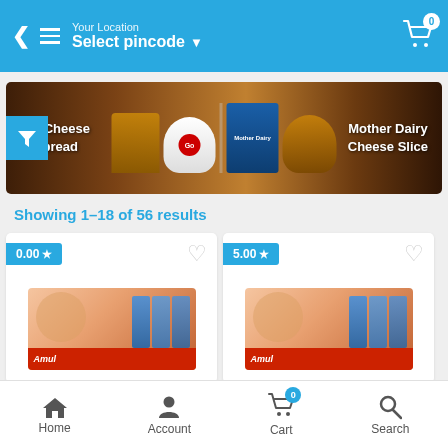Your Location Select pincode
[Figure (photo): Promotional banner showing Go Cheese Spread and Mother Dairy Cheese Slice products on a wooden table background]
Showing 1–18 of 56 results
[Figure (photo): Amul cheese product card with rating 0.00 stars and heart/wishlist icon]
[Figure (photo): Amul cheese product card with rating 5.00 stars and heart/wishlist icon]
Home  Account  Cart  Search